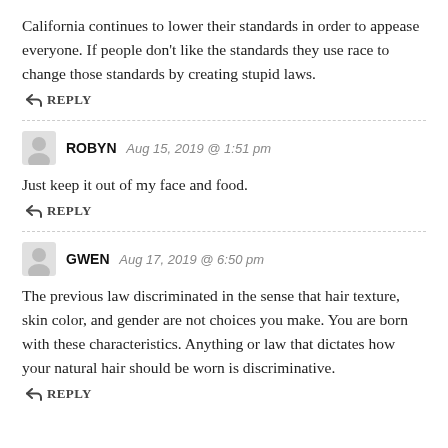California continues to lower their standards in order to appease everyone. If people don't like the standards they use race to change those standards by creating stupid laws.
↩ REPLY
ROBYN  Aug 15, 2019 @ 1:51 pm
Just keep it out of my face and food.
↩ REPLY
GWEN  Aug 17, 2019 @ 6:50 pm
The previous law discriminated in the sense that hair texture, skin color, and gender are not choices you make. You are born with these characteristics. Anything or law that dictates how your natural hair should be worn is discriminative.
↩ REPLY